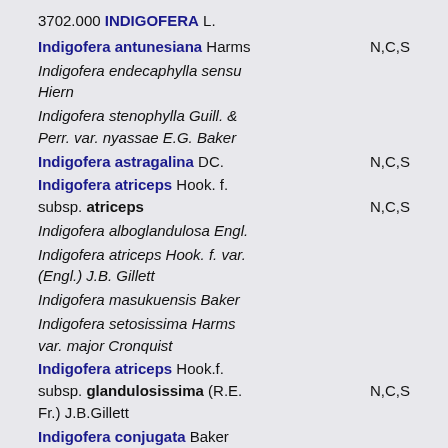3702.000 INDIGOFERA L.
Indigofera antunesiana Harms   N,C,S
Indigofera endecaphylla sensu Hiern
Indigofera stenophylla Guill. & Perr. var. nyassae E.G. Baker
Indigofera astragalina DC.   N,C,S
Indigofera atriceps Hook. f. subsp. atriceps   N,C,S
Indigofera alboglandulosa Engl.
Indigofera atriceps Hook. f. var. (Engl.) J.B. Gillett
Indigofera masukuensis Baker
Indigofera setosissima Harms var. major Cronquist
Indigofera atriceps Hook.f. subsp. glandulosissima (R.E. Fr.) J.B.Gillett   N,C,S
Indigofera conjugata Baker
var. trimorphophylla (Taub.) J.B. Gillett   N